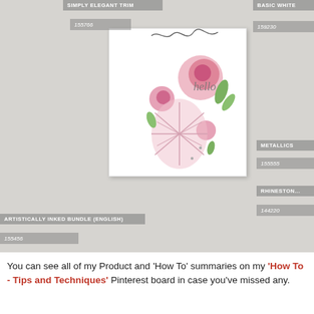[Figure (photo): A handmade greeting card with pink floral stamped and die-cut designs (roses, dahlias, leaves) placed on a light wood background. Multiple product label overlays identify craft supplies: SIMPLY ELEGANT TRIM (155766), BASIC WHITE (159230), ARTISTICALLY INKED BUNDLE ENGLISH (155456), METALLICS (155555), RHINESTONE (144220). The card features the word 'hello' and floral embellishments.]
You can see all of my Product and 'How To' summaries on my 'How To - Tips and Techniques' Pinterest board in case you've missed any.